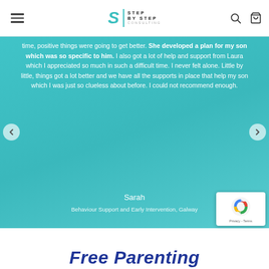Step By Step Consulting — navigation header with logo, hamburger menu, search and cart icons
time, positive things were going to get better. She developed a plan for my son which was so specific to him. I also got a lot of help and support from Laura which I appreciated so much in such a difficult time. I never felt alone. Little by little, things got a lot better and we have all the supports in place that help my son which I was just so clueless about before. I could not recommend enough.
Sarah
Behaviour Support and Early Intervention, Galway
Free Parenting